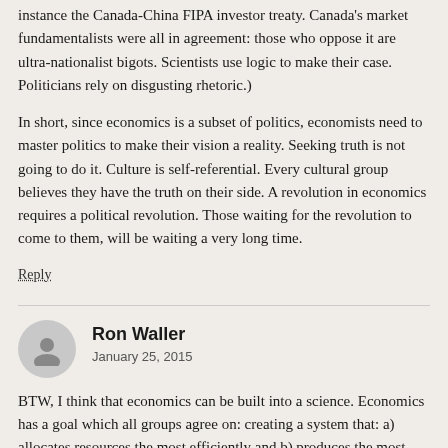instance the Canada-China FIPA investor treaty. Canada's market fundamentalists were all in agreement: those who oppose it are ultra-nationalist bigots. Scientists use logic to make their case. Politicians rely on disgusting rhetoric.)
In short, since economics is a subset of politics, economists need to master politics to make their vision a reality. Seeking truth is not going to do it. Culture is self-referential. Every cultural group believes they have the truth on their side. A revolution in economics requires a political revolution. Those waiting for the revolution to come to them, will be waiting a very long time.
Reply
Ron Waller
January 25, 2015
BTW, I think that economics can be built into a science. Economics has a goal which all groups agree on: creating a system that: a) allocates resources the most efficiently and b) produces the most